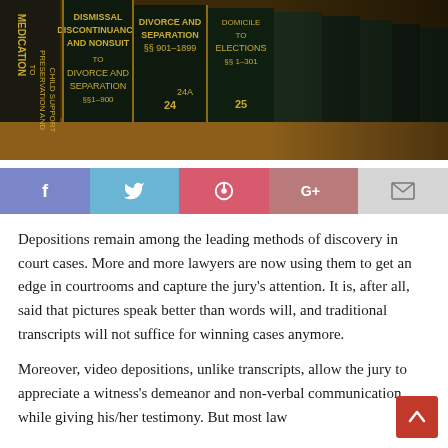[Figure (photo): Row of law books on a shelf, spines showing titles including 'Divorce and Separation', 'Discontinuance and Nonsuit', 'Election', with gold lettering on dark covers. Books are numbered 24, 24A, 25.]
[Figure (infographic): Social media sharing bar with Facebook (blue-purple), Twitter (light blue), Pinterest (pink-red), Google+ (muted red), and Email (light gray) buttons with white icons.]
Depositions remain among the leading methods of discovery in court cases. More and more lawyers are now using them to get an edge in courtrooms and capture the jury's attention. It is, after all, said that pictures speak better than words will, and traditional transcripts will not suffice for winning cases anymore.
Moreover, video depositions, unlike transcripts, allow the jury to appreciate a witness's demeanor and non-verbal communication while giving his/her testimony. But most law...